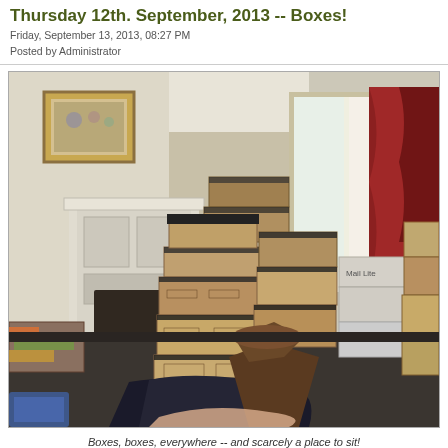Thursday 12th. September, 2013 -- Boxes!
Friday, September 13, 2013, 08:27 PM
Posted by Administrator
[Figure (photo): A room filled with numerous stacked cardboard moving boxes of various sizes. In the background is a fireplace with ornate white mantelpiece, a framed painting on the wall, a window with red curtains, and natural light. In the foreground is a wooden chair and a black bag on the floor. The boxes are stacked several high throughout the room, some with black lids, some plain cardboard, and one white box labeled 'Mail Lite'.]
Boxes, boxes, everywhere -- and scarcely a place to sit!